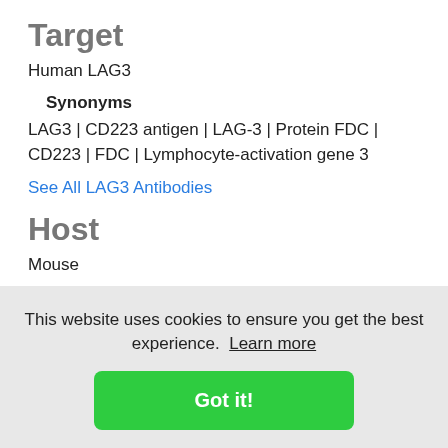Target
Human LAG3
Synonyms
LAG3 | CD223 antigen | LAG-3 | Protein FDC | CD223 | FDC | Lymphocyte-activation gene 3
See All LAG3 Antibodies
Host
Mouse
Reactivity
Human
This website uses cookies to ensure you get the best experience. Learn more
Got it!